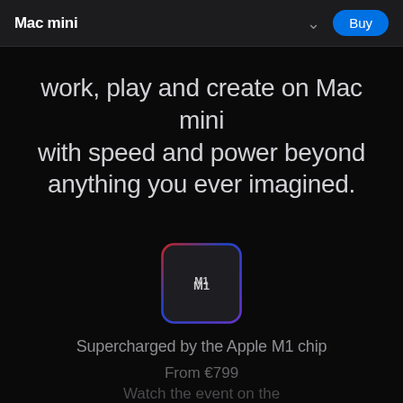Mac mini
work, play and create on Mac mini with speed and power beyond anything you ever imagined.
[Figure (illustration): Apple M1 chip icon — a dark square chip with a colorful gradient border (red to blue to purple), showing the Apple logo and 'M1' text in the center.]
Supercharged by the Apple M1 chip
From €799
Watch the event on the